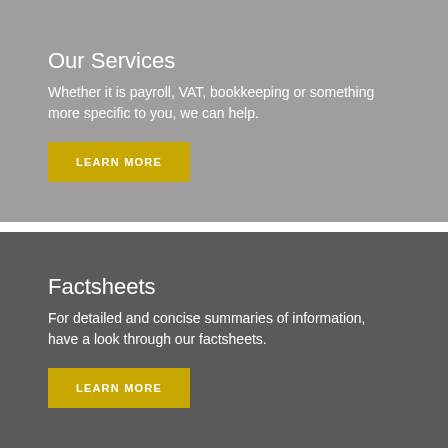Our Services
Whether it is payroll, VAT, bookkeeping or something more specific to you, we can help.
LEARN MORE
Factsheets
For detailed and concise summaries of information, have a look through our factsheets.
LEARN MORE